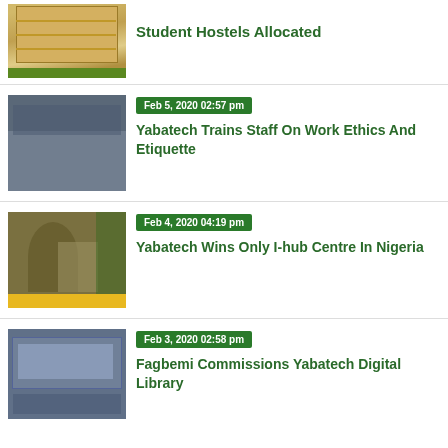[Figure (photo): Building/hostel exterior photo]
Student Hostels Allocated
[Figure (photo): Group photo of staff at training event]
Feb 5, 2020 02:57 pm
Yabatech Trains Staff On Work Ethics And Etiquette
[Figure (photo): Woman speaking at microphone at event]
Feb 4, 2020 04:19 pm
Yabatech Wins Only I-hub Centre In Nigeria
[Figure (photo): Computer lab / digital library interior]
Feb 3, 2020 02:58 pm
Fagbemi Commissions Yabatech Digital Library